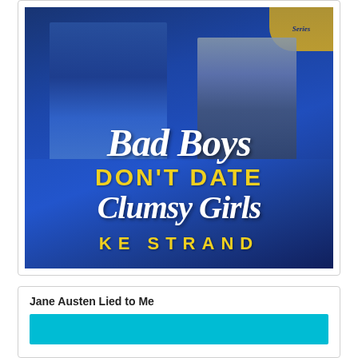[Figure (illustration): Book cover for 'Bad Boys Don't Date Clumsy Girls' by KE Strand. Blue background with two figures, white cursive title text and yellow display text.]
Jane Austen Lied to Me
[Figure (illustration): Partial book cover showing cyan/turquoise background, beginning of another book cover.]